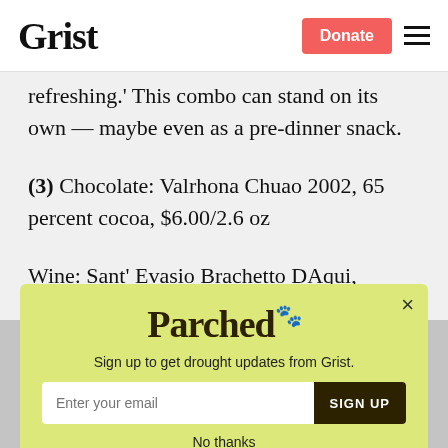Grist | Donate
refreshing.' This combo can stand on its own — maybe even as a pre-dinner snack.
(3) Chocolate: Valrhona Chuao 2002, 65 percent cocoa, $6.00/2.6 oz
Wine: Sant' Evasio Brachetto DAqui, $15.00
The chocolate, which Valrhona has been
[Figure (other): Parchea newsletter signup popup modal with yellow-green background. Contains 'Parchea' logo text, tagline 'Sign up to get drought updates from Grist.', email input field, SIGN UP button, and 'No thanks' link. Close (×) button in top right corner.]